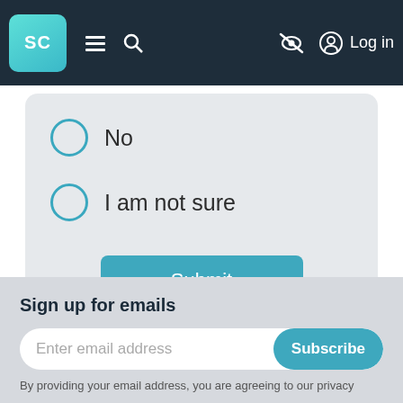SC [logo] | hamburger menu | search | eye-slash icon | Log in
No
I am not sure
Submit
Sign up for emails
Enter email address
Subscribe
By providing your email address, you are agreeing to our privacy